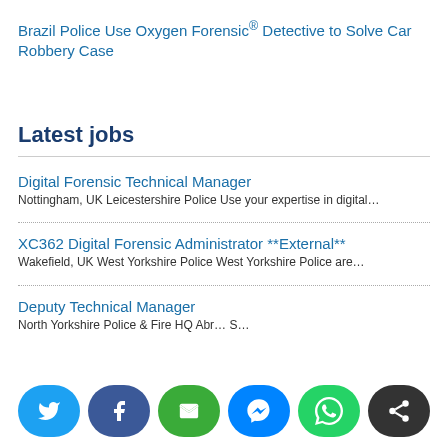Brazil Police Use Oxygen Forensic® Detective to Solve Car Robbery Case
Latest jobs
Digital Forensic Technical Manager
Nottingham, UK Leicestershire Police Use your expertise in digital…
XC362 Digital Forensic Administrator **External**
Wakefield, UK West Yorkshire Police West Yorkshire Police are…
Deputy Technical Manager
North Yorkshire Police & Fire HQ Abr…  S…